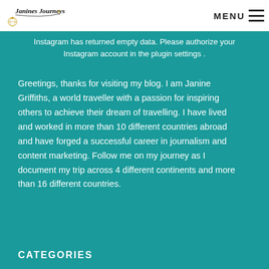Janines Journeys | MENU
Instagram has returned empty data. Please authorize your Instagram account in the plugin settings .
Greetings, thanks for visiting my blog. I am Janine Griffiths, a world traveller with a passion for inspiring others to achieve their dream of travelling. I have lived and worked in more than 10 different countries abroad and have forged a successful career in journalism and content marketing. Follow me on my journey as I document my trip across 4 different continents and more than 16 different countries.
CATEGORIES